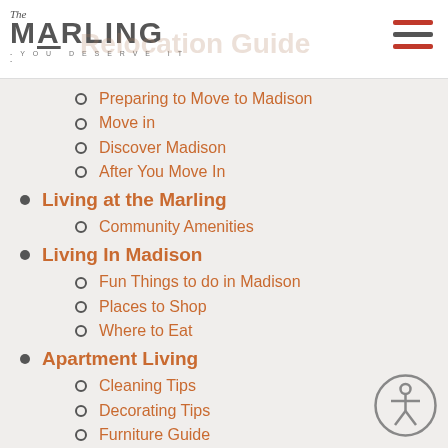The Marling - You Deserve It - Relocation Guide
Preparing to Move to Madison
Move in
Discover Madison
After You Move In
Living at the Marling
Community Amenities
Living In Madison
Fun Things to do in Madison
Places to Shop
Where to Eat
Apartment Living
Cleaning Tips
Decorating Tips
Furniture Guide
Interior Botanicals